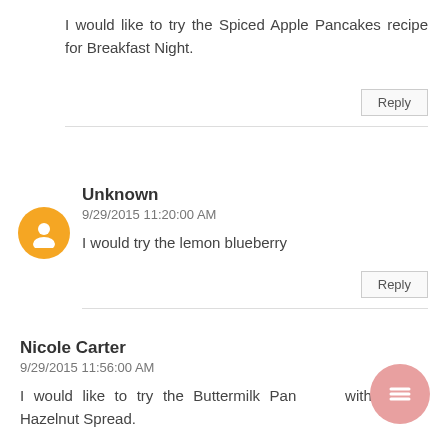I would like to try the Spiced Apple Pancakes recipe for Breakfast Night.
Reply
Unknown
9/29/2015 11:20:00 AM
I would try the lemon blueberry
Reply
Nicole Carter
9/29/2015 11:56:00 AM
I would like to try the Buttermilk Pancakes with Nutella Hazelnut Spread.